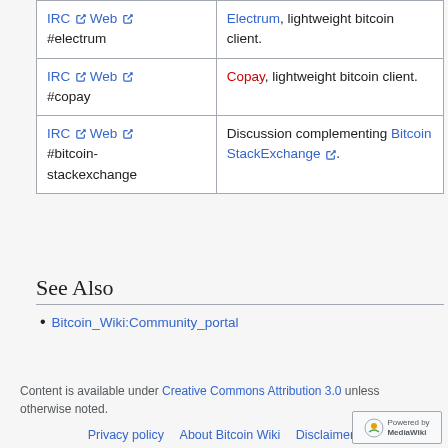| Channel | Description |
| --- | --- |
| IRC ↗ Web ↗
#electrum | Electrum, lightweight bitcoin client. |
| IRC ↗ Web ↗
#copay | Copay, lightweight bitcoin client. |
| IRC ↗ Web ↗
#bitcoin-stackexchange | Discussion complementing Bitcoin StackExchange ↗. |
See Also
Bitcoin_Wiki:Community_portal
Content is available under Creative Commons Attribution 3.0 unless otherwise noted.
Privacy policy · About Bitcoin Wiki · Disclaimers